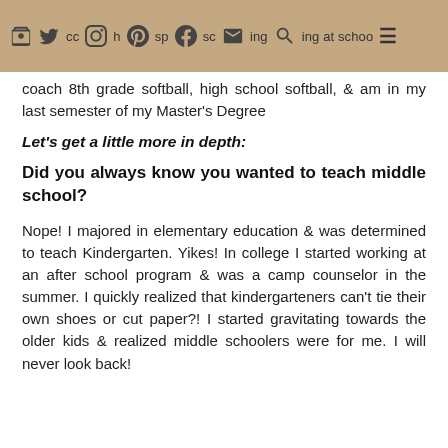you coach sp sc ng at school
coach 8th grade softball, high school softball, & am in my last semester of my Master's Degree
Let's get a little more in depth:
Did you always know you wanted to teach middle school?
Nope! I majored in elementary education & was determined to teach Kindergarten. Yikes! In college I started working at an after school program & was a camp counselor in the summer. I quickly realized that kindergarteners can't tie their own shoes or cut paper?! I started gravitating towards the older kids & realized middle schoolers were for me. I will never look back!